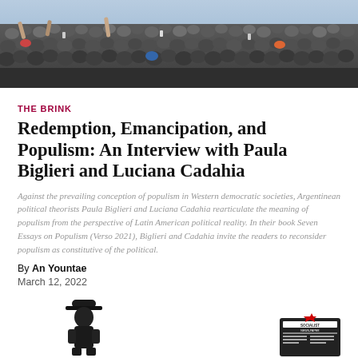[Figure (photo): Aerial crowd photo showing a large dense gathering of people, some with raised arms, taken from above in daylight.]
THE BRINK
Redemption, Emancipation, and Populism: An Interview with Paula Biglieri and Luciana Cadahia
Against the prevailing conception of populism in Western democratic societies, Argentinean political theorists Paula Biglieri and Luciana Cadahia rearticulate the meaning of populism from the perspective of Latin American political reality. In their book Seven Essays on Populism (Verso 2021), Biglieri and Cadahia invite the readers to reconsider populism as constitutive of the political.
By An Yountae
March 12, 2022
[Figure (illustration): Small black and white illustration at the bottom left showing a figure with a hat, likely a protest or political cartoon image.]
[Figure (illustration): Small black and white illustration at the bottom right showing a socialist newspaper logo or similar graphic.]